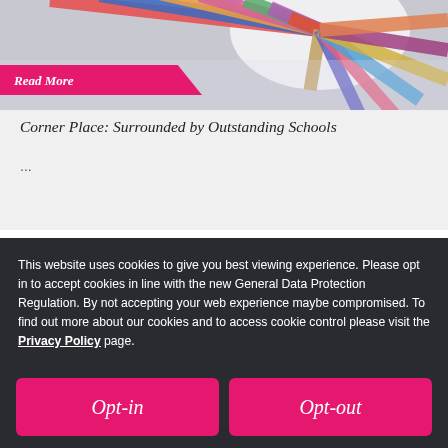[Figure (photo): Top portion of card showing colorful pencils arranged in a fan/radial pattern, with a pink 'Read More' banner overlaid at the bottom-left of the image]
Corner Place: Surrounded by Outstanding Schools
...
This website uses cookies to give you best viewing experience. Please opt in to accept cookies in line with the new General Data Protection Regulation. By not accepting your web experience maybe compromised. To find out more about our cookies and to access cookie control please visit the Privacy Policy page.
Opt-in
Opt-out